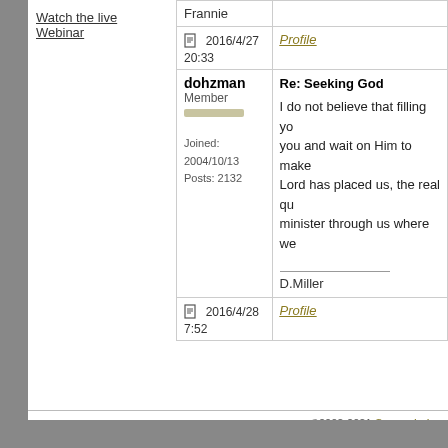Watch the live Webinar
| Frannie |  |
| [icon] 2016/4/27 20:33 | Profile |
| dohzman
Member
[rep bar]

Joined: 2004/10/13
Posts: 2132 | Re: Seeking God
I do not believe that filling yo... you and wait on Him to make... Lord has placed us, the real qu... minister through us where we...
_______________
D.Miller |
| [icon] 2016/4/28 7:52 | Profile |
©2002-2021 SermonIndex Promoting Genuine Biblical R... Affiliate Disclosure | Privacy...